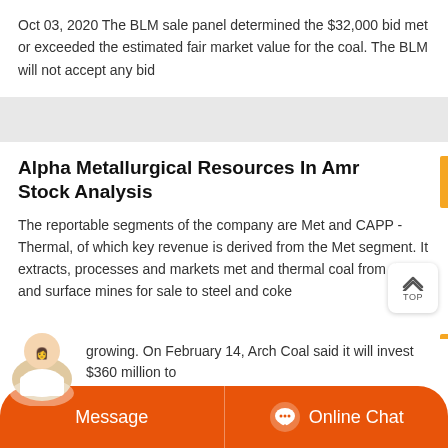Oct 03, 2020 The BLM sale panel determined the $32,000 bid met or exceeded the estimated fair market value for the coal. The BLM will not accept any bid
Alpha Metallurgical Resources In Amr Stock Analysis
The reportable segments of the company are Met and CAPP - Thermal, of which key revenue is derived from the Met segment. It extracts, processes and markets met and thermal coal from deep and surface mines for sale to steel and coke
West Virginia Coal Industrys Future Lies In Met Coal
Feb 21, 2019 For years, Arch Coal has sat on reserves of high-quality metallurgical coal in Barbour County while it developed its Leer
growing. On February 14, Arch Coal said it will invest $360 million to